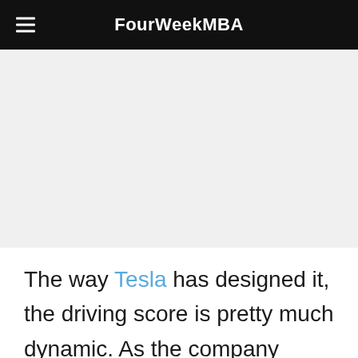FourWeekMBA
[Figure (other): Advertisement or blank placeholder area below the navigation header]
The way Tesla has designed it, the driving score is pretty much dynamic. As the company explains: